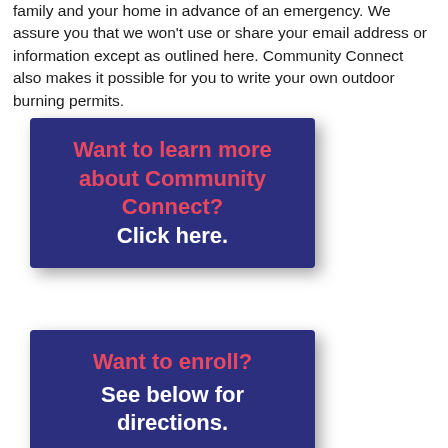family and your home in advance of an emergency. We assure you that we won't use or share your email address or information except as outlined here. Community Connect also makes it possible for you to write your own outdoor burning permits.
[Figure (infographic): Dark navy blue banner with text: 'Want to learn more about Community Connect?' in red/pink bold font, followed by 'Click here.' in white bold font.]
[Figure (infographic): Dark navy blue banner with text: 'Want to enroll?' in red/pink bold font, followed by 'See below for directions.' in white bold font.]